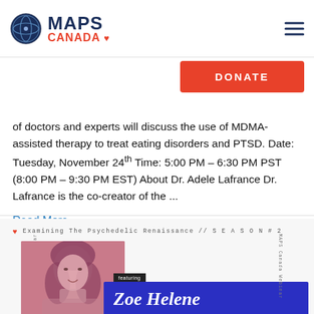MAPS CANADA
DONATE
of doctors and experts will discuss the use of MDMA-assisted therapy to treat eating disorders and PTSD. Date: Tuesday, November 24th Time: 5:00 PM – 6:30 PM PST (8:00 PM – 9:30 PM EST) About Dr. Adele Lafrance Dr. Lafrance is the co-creator of the ...
Read More »
[Figure (illustration): MAPS Canada webinar promotional card featuring Zoe Helene. Shows a pink-tinted portrait photo of a woman with text 'Examining The Psychedelic Renaissance // SEASON #2', a 'featuring' badge, and the name 'Zoe Helene' on a blue banner. Rotated sidebar text reads 'MAPS Canada Webinar'.]